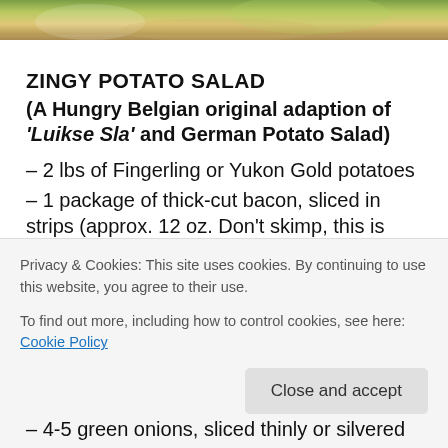[Figure (photo): Top portion of a food photo showing a potato salad dish with green herbs, partially cropped at the top of the page.]
ZINGY POTATO SALAD
(A Hungry Belgian original adaption of ‘Luikse Sla’ and German Potato Salad)
– 2 lbs of Fingerling or Yukon Gold potatoes
– 1 package of thick-cut bacon, sliced in strips (approx. 12 oz. Don’t skimp, this is where the flavor is at!)
– 2 large shallots, diced finely
Privacy & Cookies: This site uses cookies. By continuing to use this website, you agree to their use.
To find out more, including how to control cookies, see here: Cookie Policy
– 4-5 green onions, sliced thinly or silvered